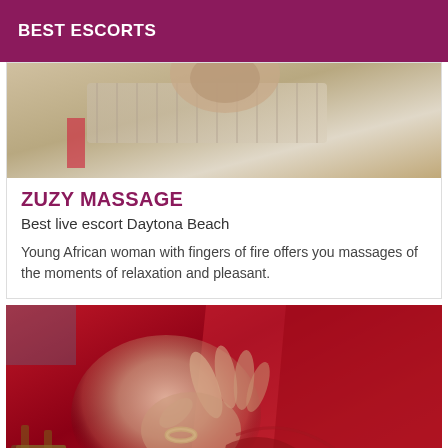BEST ESCORTS
[Figure (photo): Partial view of a person from behind, cropped photo at top of listing card]
ZUZY MASSAGE
Best live escort Daytona Beach
Young African woman with fingers of fire offers you massages of the moments of relaxation and pleasant.
[Figure (photo): Close-up photo of a hand wearing a ring, pulling at red fabric/dress, with a wooden chair visible in background]